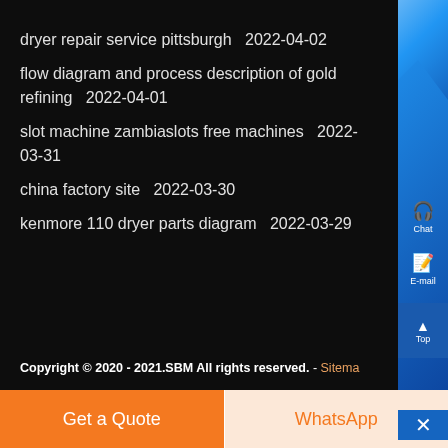dryer repair service pittsburgh  2022-04-02
flow diagram and process description of gold refining  2022-04-01
slot machine zambiaslots free machines  2022-03-31
china factory site  2022-03-30
kenmore 110 dryer parts diagram  2022-03-29
Copyright © 2020 - 2021.SBM All rights reserved. - Sitema…